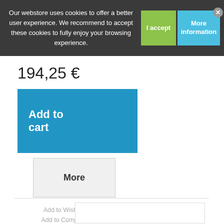Our webstore uses cookies to offer a better user experience. We recommend to accept these cookies to fully enjoy your browsing experience.
I accept
More information
194,25 €
Add to cart
More
Add to Wishlist
Add to Compare